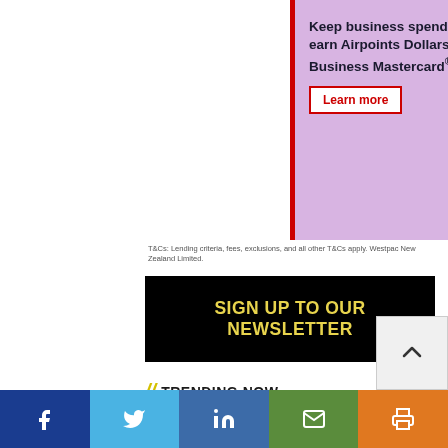[Figure (illustration): Advertisement banner for Westpac Airpoints Business Mastercard on a lavender/purple background with a red left border. Shows text 'Keep business spend separate and earn Airpoints Dollars™ on Airpoints Business Mastercard®.' with a 'Learn more' button and a flying red gift box with white wings illustration.]
T&Cs: Lending criteria, fees, exclusions, and all other T&Cs apply. Westpac New Zealand Limited.
[Figure (infographic): Black banner with bold yellow text reading 'SIGN UP TO OUR NEWSLETTER']
// TRENDING NOW
[Figure (infographic): Social media share bar at bottom with icons for Facebook (dark blue), Twitter (light blue), LinkedIn (blue), Email (green), and Print (orange). A back-to-top arrow button is positioned above the bar at the right.]